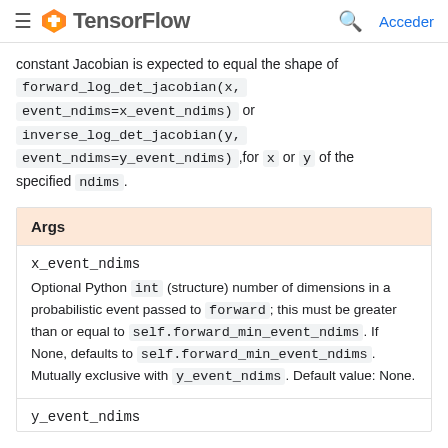TensorFlow — Acceder
constant Jacobian is expected to equal the shape of forward_log_det_jacobian(x, event_ndims=x_event_ndims) or inverse_log_det_jacobian(y, event_ndims=y_event_ndims), for x or y of the specified ndims.
| Args |
| --- |
| x_event_ndims | Optional Python int (structure) number of dimensions in a probabilistic event passed to forward; this must be greater than or equal to self.forward_min_event_ndims. If None, defaults to self.forward_min_event_ndims. Mutually exclusive with y_event_ndims. Default value: None. |
| y_event_ndims |  |